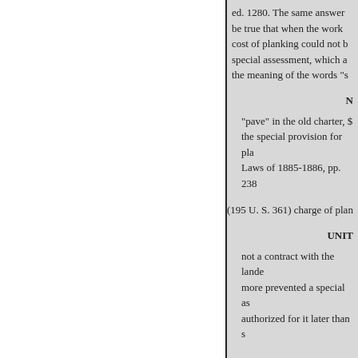ed. 1280. The same answer be true that when the work cost of planking could not b special assessment, which a the meaning of the words "s
N
"pave" in the old charter, $ the special provision for pla Laws of 1885-1886, pp. 238
(195 U. S. 361) charge of plan
UNIT
not a contract with the lande more prevented a special as authorized for it later than s
laws at the same time as to paid for would have. In eith
. — collision with beaislature